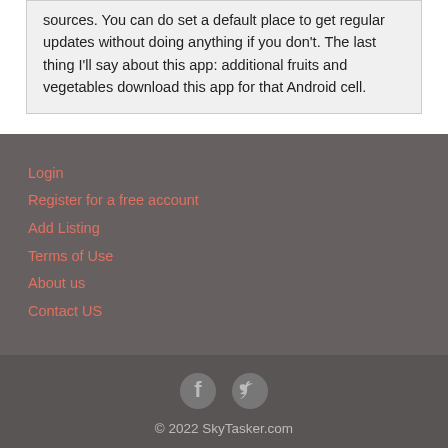sources. You can do set a default place to get regular updates without doing anything if you don't. The last thing I'll say about this app: additional fruits and vegetables download this app for that Android cell.
Login
Register for a free account
Add Listing
Terms of Use
About us
Contact US
[Figure (other): Facebook and Twitter social media icons]
© 2022 SkyTasker.com